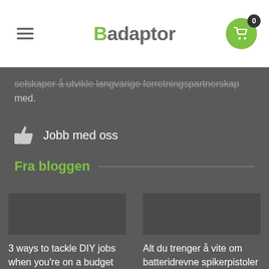Badaptor
selskaper å utvikle langvarige forretningspartnerskap med.
Jobb med oss
Fra bloggen
[Figure (photo): Blog post thumbnail image placeholder (dark grey)]
3 ways to tackle DIY jobs when you're on a budget
[Figure (photo): Blog post thumbnail image placeholder (dark grey)]
Alt du trenger å vite om batteridrevne spikerpistoler